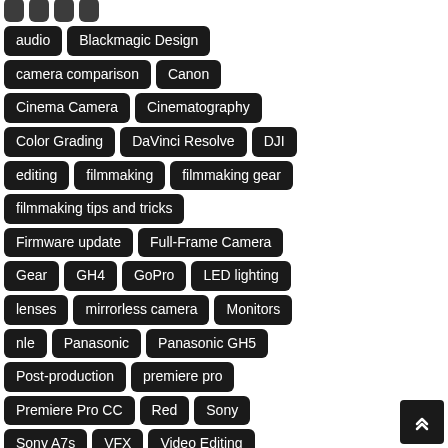audio
Blackmagic Design
camera comparison
Canon
Cinema Camera
Cinematography
Color Grading
DaVinci Resolve
DJI
editing
filmmaking
filmmaking gear
filmmaking tips and tricks
Firmware update
Full-Frame Camera
Gear
GH4
GoPro
LED lighting
lenses
mirrorless camera
Monitors
nle
Panasonic
Panasonic GH5
Post-production
premiere pro
Premiere Pro CC
Red
Sony
Sony A7s
VFX
Video Editing
video editor
workflow